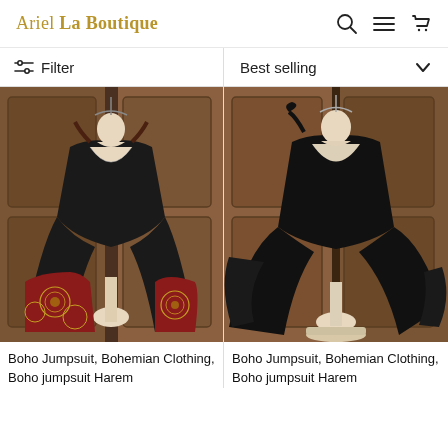Ariel La Boutique
Filter | Best selling
[Figure (photo): Boho jumpsuit on mannequin with bohemian mandala print hem against wooden door background]
[Figure (photo): Solid black boho jumpsuit on mannequin against wooden door background]
Boho Jumpsuit, Bohemian Clothing, Boho jumpsuit Harem
Boho Jumpsuit, Bohemian Clothing, Boho jumpsuit Harem